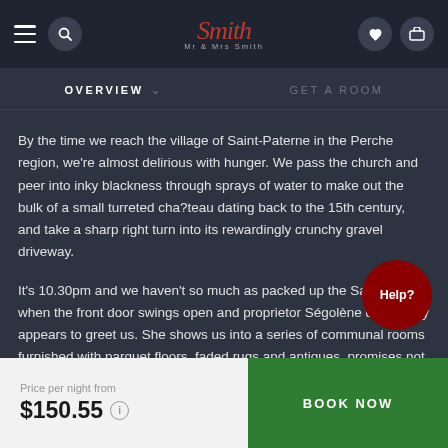Mr & Mrs Smith — navigation bar with logo, hamburger menu, search, phone, heart, and bag icons
OVERVIEW    GET A ROOM
By the time we reach the village of Saint-Paterne in the Perche region, we're almost delirious with hunger. We pass the church and peer into inky blackness through sprays of water to make out the bulk of a small turreted cha?teau dating back to the 15th century, and take a sharp right turn into its rewardingly crunchy gravel driveway.
It's 10.30pm and we haven't so much as packed up the SatNav when the front door swings open and proprietor Ségolène de Valbray appears to greet us. She shows us into a series of communal rooms furnished with parquet floors, faded rugs and antiques, promises not just cheese, but a tray in our room with a plate of something
Price per night from $150.55    BOOK NOW